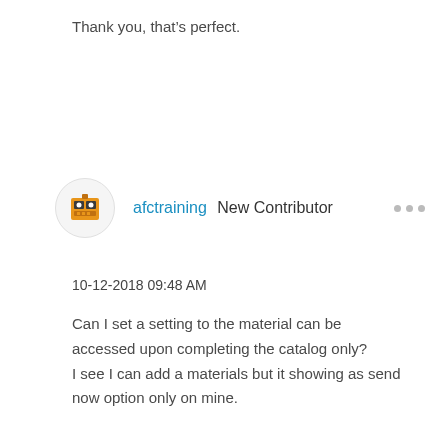Thank you, that’s perfect.
afctraining New Contributor
10-12-2018 09:48 AM
Can I set a setting to the material can be accessed upon completing the catalog only?
I see I can add a materials but it showing as send now option only on mine.